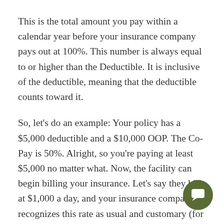This is the total amount you pay within a calendar year before your insurance company pays out at 100%. This number is always equal to or higher than the Deductible. It is inclusive of the deductible, meaning that the deductible counts toward it.
So, let's do an example: Your policy has a $5,000 deductible and a $10,000 OOP. The Co-Pay is 50%. Alright, so you're paying at least $5,000 no matter what. Now, the facility can begin billing your insurance. Let's say they bill at $1,000 a day, and your insurance company recognizes this rate as usual and customary (for simplicity's sake). Okay, so after 10 days of billing ($10,000 worth of treatment) the insurance company will have p... $5,000 and will consider that you owe the other